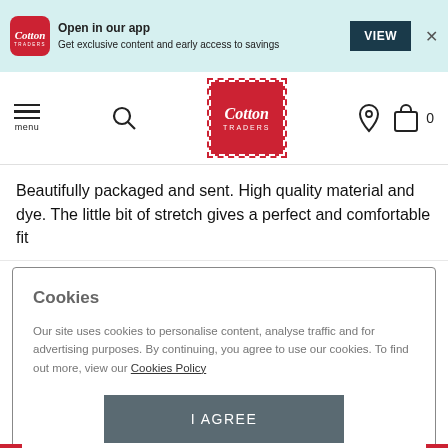[Figure (screenshot): App download banner with Cotton Traders logo icon, 'Open in our app' heading, 'Get exclusive content and early access to savings' text, VIEW button, and close X]
[Figure (screenshot): Cotton Traders website navigation bar with hamburger menu, search icon, Cotton Traders logo, location pin icon, and shopping bag with 0 count]
Beautifully packaged and sent. High quality material and dye. The little bit of stretch gives a perfect and comfortable fit
Cookies
Our site uses cookies to personalise content, analyse traffic and for advertising purposes. By continuing, you agree to use our cookies. To find out more, view our Cookies Policy
I AGREE